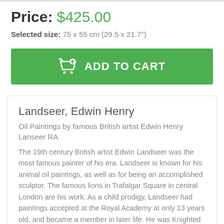Price: $425.00
Selected size: 75 x 55 cm (29.5 x 21.7")
[Figure (other): Green 'ADD TO CART' button with shopping cart icon]
Landseer, Edwin Henry
Oil Paintings by famous British artist Edwin Henry Lanseer RA
The 19th century British artist Edwin Landseer was the most famous painter of his era. Landseer is known for his animal oil paintings, as well as for being an accomplished sculptor. The famous lions in Trafalgar Square in central London are his work. As a child prodigy, Landseer had paintings accepted at the Royal Academy at only 13 years old, and became a member in later life. He was Knighted by Queen Victoria and she also commissioned several paintings from